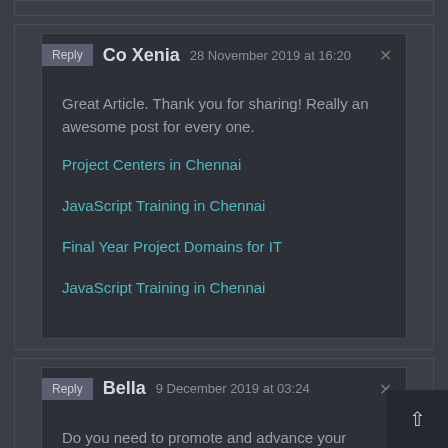Co Xenia  28 November 2019 at 16:20
Great Article. Thank you for sharing! Really an awesome post for every one.
Project Centers in Chennai
JavaScript Training in Chennai
Final Year Project Domains for IT
JavaScript Training in Chennai
Bella  9 December 2019 at 03:24
Do you need to promote and advance your business online? Piama Media Labs is the Best